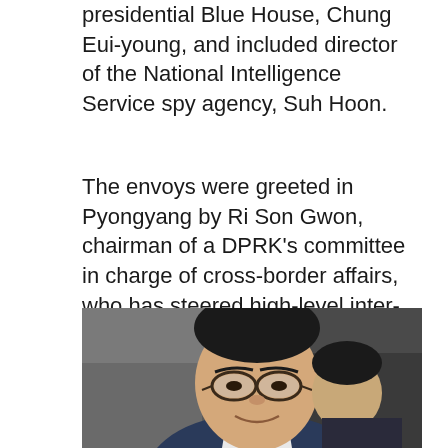presidential Blue House, Chung Eui-young, and included director of the National Intelligence Service spy agency, Suh Hoon.
The envoys were greeted in Pyongyang by Ri Son Gwon, chairman of a DPRK's committee in charge of cross-border affairs, who has steered high-level inter-Korean talks, according to Blue House press secretary Yoon Young-chan.
[Figure (photo): Close-up photograph of an East Asian man wearing glasses and a suit, smiling slightly, with another person partially visible behind him. The background appears to be a building interior.]